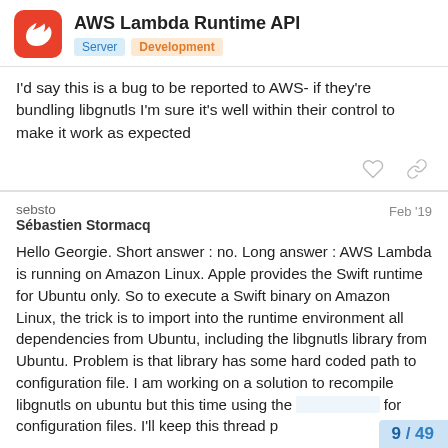AWS Lambda Runtime API — Server | Development
I'd say this is a bug to be reported to AWS- if they're bundling libgnutls I'm sure it's well within their control to make it work as expected
sebsto  Feb '19
Sébastien Stormacq
Hello Georgie. Short answer : no. Long answer : AWS Lambda is running on Amazon Linux. Apple provides the Swift runtime for Ubuntu only. So to execute a Swift binary on Amazon Linux, the trick is to import into the runtime environment all dependencies from Ubuntu, including the libgnutls library from Ubuntu. Problem is that library has some hard coded path to configuration file. I am working on a solution to recompile libgnutls on ubuntu but this time using the [...]  for configuration files. I'll keep this thread p
9 / 49